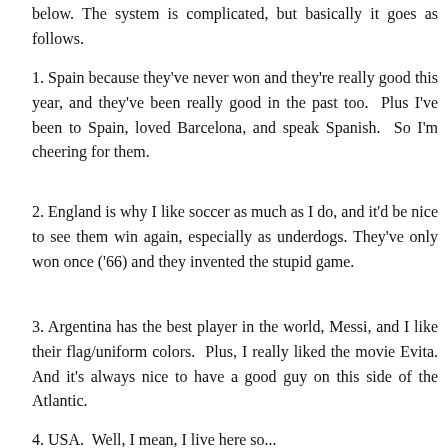below.  The system is complicated, but basically it goes as follows.
1. Spain because they've never won and they're really good this year, and they've been really good in the past too.  Plus I've been to Spain, loved Barcelona, and speak Spanish.  So I'm cheering for them.
2. England is why I like soccer as much as I do, and it'd be nice to see them win again, especially as underdogs. They've only won once ('66) and they invented the stupid game.
3. Argentina has the best player in the world, Messi, and I like their flag/uniform colors.  Plus, I really liked the movie Evita. And it's always nice to have a good guy on this side of the Atlantic.
4. USA.  Well, I mean, I live here so...